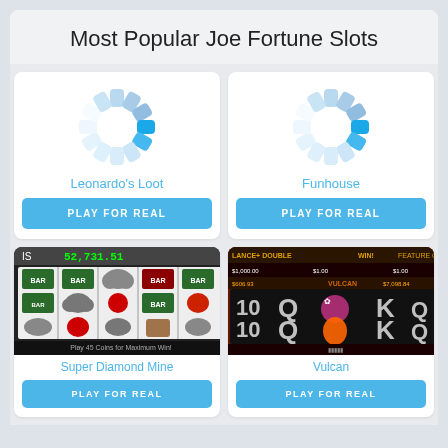Most Popular Joe Fortune Slots
[Figure (illustration): Loading spinner icon for Leonardo's Loot slot game]
Leonardo's Loot
PLAY FOR REAL
[Figure (illustration): Loading spinner icon for Funhouse slot game]
Funhouse
PLAY FOR REAL
[Figure (screenshot): Super Diamond Mine slot game screenshot showing reels with BAR symbols, clouds, and red cherries, jackpot display 52,731.51]
Super Diamond Mine
PLAY FOR REAL
[Figure (screenshot): Vulcan slot game screenshot showing reels with 10, Q, K symbols on fiery background]
Vulcan
PLAY FOR REAL